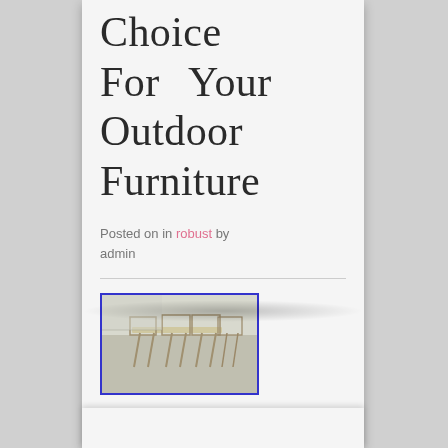Choice For Your Outdoor Furniture
Posted on in robust by admin
[Figure (photo): Outdoor furniture set — metal chairs and table on a patio]
Continue reading...